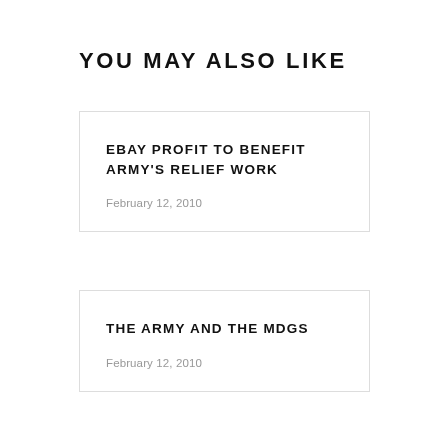YOU MAY ALSO LIKE
EBAY PROFIT TO BENEFIT ARMY'S RELIEF WORK
February 12, 2010
THE ARMY AND THE MDGS
February 12, 2010